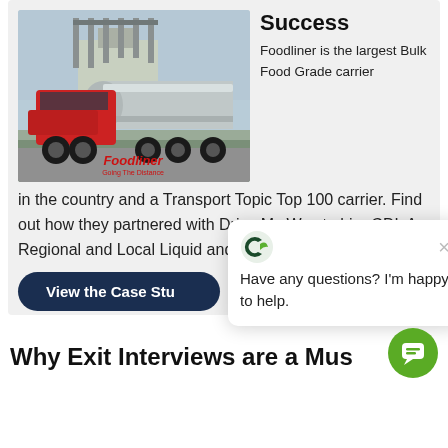[Figure (photo): Red Foodliner truck with tanker trailer on a road, with 'Foodliner Going The Distance' logo in bottom right of image]
Success
Foodliner is the largest Bulk Food Grade carrier in the country and a Transport Topic Top 100 carrier. Find out how they partnered with Drive My Way to hire CDL A Regional and Local Liquid and Dry Bulk Drivers.
View the Case Stu[dy]
Have any questions? I'm happy to help.
Why Exit Interviews are a Mus[t]